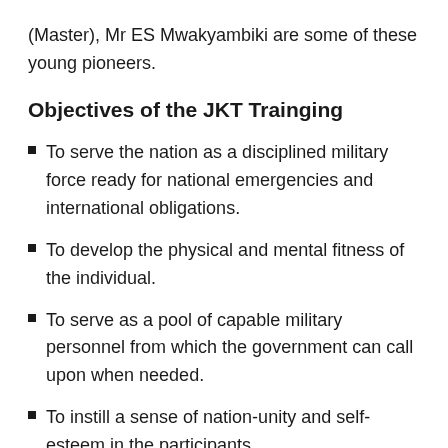(Master), Mr ES Mwakyambiki are some of these young pioneers.
Objectives of the JKT Trainging
To serve the nation as a disciplined military force ready for national emergencies and international obligations.
To develop the physical and mental fitness of the individual.
To serve as a pool of capable military personnel from which the government can call upon when needed.
To instill a sense of nation-unity and self-esteem in the participants.
To channel the energies of the young men into